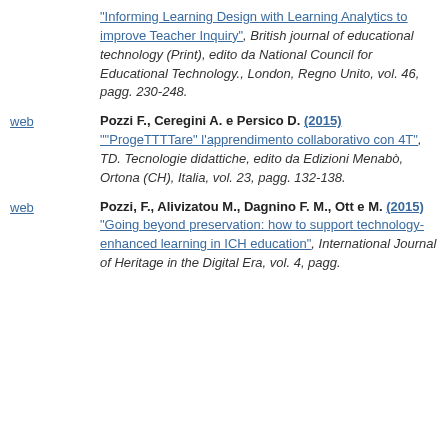"Informing Learning Design with Learning Analytics to improve Teacher Inquiry", British journal of educational technology (Print), edito da National Council for Educational Technology., London, Regno Unito, vol. 46, pagg. 230-248.
Pozzi F., Ceregini A. e Persico D. (2015) ""ProgeTTTTare" l'apprendimento collaborativo con 4T", TD. Tecnologie didattiche, edito da Edizioni Menabò, Ortona (CH), Italia, vol. 23, pagg. 132-138.
Pozzi, F., Alivizatou M., Dagnino F. M., Ott e M. (2015) "Going beyond preservation: how to support technology-enhanced learning in ICH education", International Journal of Heritage in the Digital Era, vol. 4, pagg.